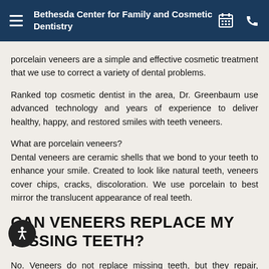Bethesda Center for Family and Cosmetic Dentistry
porcelain veneers are a simple and effective cosmetic treatment that we use to correct a variety of dental problems.
Ranked top cosmetic dentist in the area, Dr. Greenbaum use advanced technology and years of experience to deliver healthy, happy, and restored smiles with teeth veneers.
What are porcelain veneers?
Dental veneers are ceramic shells that we bond to your teeth to enhance your smile. Created to look like natural teeth, veneers cover chips, cracks, discoloration. We use porcelain to best mirror the translucent appearance of real teeth.
CAN VENEERS REPLACE MY MISSING TEETH?
No. Veneers do not replace missing teeth, but they repair, reshape, correct the teeth you have. We apply dental veneers to the surface of your existing teeth to cover a wide variety of cosmetic problems. We've found they are life changing when it comes to: